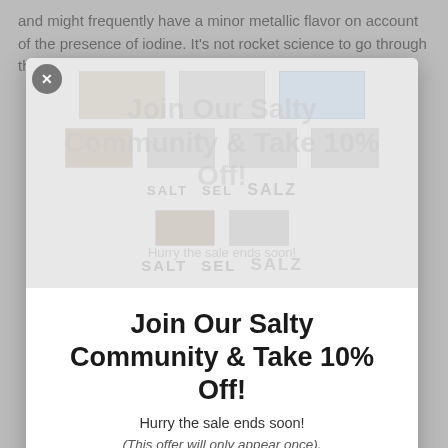and might frequently have a minor metallic flavor on account of the presence of iodine. It's not rocket science to go through the marvels of Himalayan salt
[Figure (other): Faded/blurred salt product images in background of modal popup]
Join Our Salty Community & Take 10% Off!
Hurry the sale ends soon!
(This offer will only appear once).